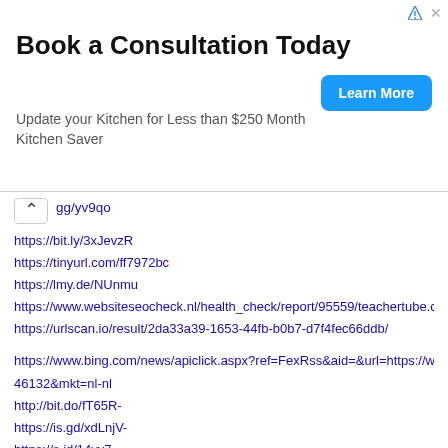[Figure (other): Advertisement banner: 'Book a Consultation Today' with 'Learn More' button and subtitle 'Update your Kitchen for Less than $250 Month Kitchen Saver']
gg/yv9qo
https://bit.ly/3xJevzR
https://tinyurl.com/ff7972bc
https://lmy.de/NUnmu
https://www.websiteseocheck.nl/health_check/report/95559/teachertube.comuserc
https://urlscan.io/result/2da33a39-1653-44fb-b0b7-d7f4fec66ddb/
https://www.bing.com/news/apiclick.aspx?ref=FexRss&aid=&url=https://www.rijsch 46132&mkt=nl-nl
http://bit.do/fT65R-
https://is.gd/xdLnjV-
https://s.id/14vv7
http://gg.gg/yv9rn
https://lmy.de/BV2EQ
https://binged.it/3K0pkQB
https://tinyurl.com/2p94pkup
https://urlscan.io/result/8fa9ba38-a50c-4e72-826c-3dc50ebf0a56/